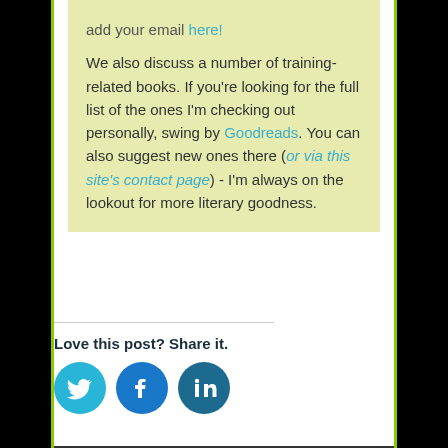add your email here!
We also discuss a number of training-related books. If you're looking for the full list of the ones I'm checking out personally, swing by Goodreads. You can also suggest new ones there (or via this site's contact page) - I'm always on the lookout for more literary goodness.
Love this post? Share it.
[Figure (infographic): Three circular social media share buttons: Twitter (cyan), Facebook (blue), LinkedIn (dark blue)]